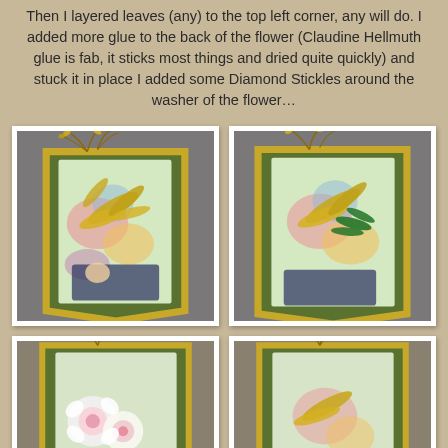Then I layered leaves (any) to the top left corner, any will do. I added more glue to the back of the flower (Claudine Hellmuth glue is fab, it sticks most things and dried quite quickly) and stuck it in place I added some Diamond Stickles around the washer of the flower…
[Figure (photo): Close-up photo of a handmade craft tag decorated with green glitter edges, gold metallic leaf embellishments, colorful decoupage paper with floral and figure motifs, and wire/branch decorations at the top.]
[Figure (photo): Similar craft tag photo showing green glitter edge tag with gold metallic leaves, green leaf embellishments, colorful decoupage paper, and decorative wire branches at top. Partially cropped on right side.]
[Figure (photo): Bottom-left craft tag photo showing white and pink flowers attached to a green glitter tag with wire branch decoration at top, partially visible.]
[Figure (photo): Bottom-right craft tag photo showing similar decorated craft tag with gold wire branch at top, green glitter edges, partially cropped.]